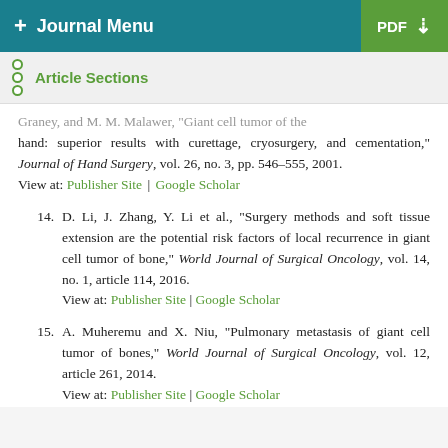+ Journal Menu | PDF ↓
Article Sections
Graney, and M. M. Malawer, "Giant cell tumor of the hand: superior results with curettage, cryosurgery, and cementation," Journal of Hand Surgery, vol. 26, no. 3, pp. 546–555, 2001.
View at: Publisher Site | Google Scholar
14. D. Li, J. Zhang, Y. Li et al., "Surgery methods and soft tissue extension are the potential risk factors of local recurrence in giant cell tumor of bone," World Journal of Surgical Oncology, vol. 14, no. 1, article 114, 2016.
View at: Publisher Site | Google Scholar
15. A. Muheremu and X. Niu, "Pulmonary metastasis of giant cell tumor of bones," World Journal of Surgical Oncology, vol. 12, article 261, 2014.
View at: Publisher Site | Google Scholar